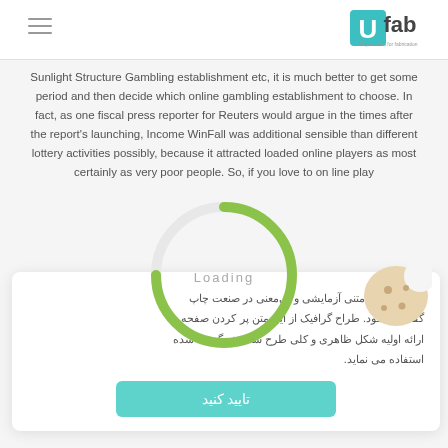UFab - All you need for fabrication
Sunlight Structure Gambling establishment etc, it is much better to get some period and then decide which online gambling establishment to choose. In fact, as one fiscal press reporter for Reuters would argue in the times after the report's launching, Income WinFall was additional sensible than different lottery activities possibly, because it attracted loaded online players as most certainly as very poor people. So, if you love to on line play
[Figure (other): Loading spinner - circular green arc with 'Loading' text in center]
لورم اینسوم متنی آزمایشی و بی‌معنی در صنعت چاپ گفته می‌شود. طراح گرافیک از این متن پر کردن صفحه و ارائه اولیه شکل ظاهری و کلی طرح سفارش گرفته شده استفاده می نماید.
تایید کنید